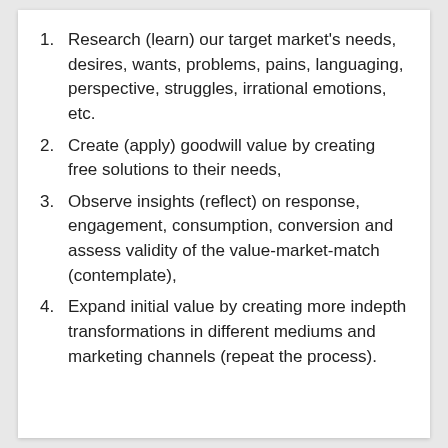Research (learn) our target market's needs, desires, wants, problems, pains, languaging, perspective, struggles, irrational emotions, etc.
Create (apply) goodwill value by creating free solutions to their needs,
Observe insights (reflect) on response, engagement, consumption, conversion and assess validity of the value-market-match (contemplate),
Expand initial value by creating more indepth transformations in different mediums and marketing channels (repeat the process).